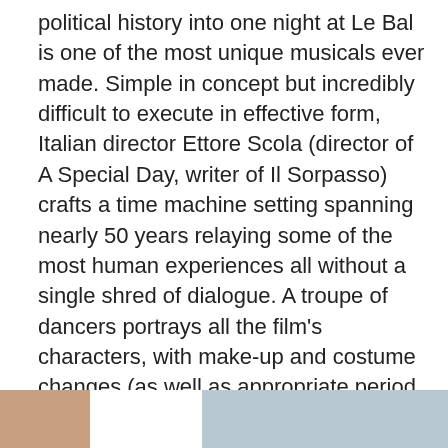political history into one night at Le Bal is one of the most unique musicals ever made. Simple in concept but incredibly difficult to execute in effective form, Italian director Ettore Scola (director of A Special Day, writer of Il Sorpasso) crafts a time machine setting spanning nearly 50 years relaying some of the most human experiences all without a single shred of dialogue. A troupe of dancers portrays all the film's characters, with make-up and costume changes (as well as appropriate period music) indicating the different time periods. Directed by Ettore Scola, Le Bal was based on a stage production that was a great success in Europe. Le Bal. A Feature film by Ettore Scola. Produced by Cinéproduction.
[Figure (photo): Partial view of two images at the bottom of the page: a small reddish-toned image on the left and a larger bluish-toned image on the right, partially visible.]